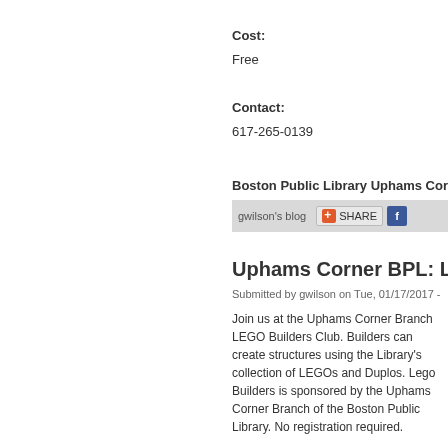Cost:
Free
Contact:
617-265-0139
Boston Public Library Uphams Corne
gwilson's blog   SHARE
Uphams Corner BPL: LE
Submitted by gwilson on Tue, 01/17/2017 -
Join us at the Uphams Corner Branch LEGO Builders Club. Builders can create structures using the Library's collection of LEGOs and Duplos. Lego Builders is sponsored by the Uphams Corner Branch of the Boston Public Library. No registration required.